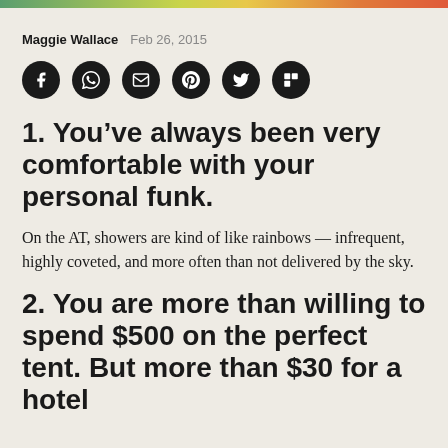Maggie Wallace   Feb 26, 2015
[Figure (other): Row of six social sharing icon buttons (Facebook, WhatsApp, Email, Pinterest, Twitter, Flipboard) as black circles with white icons]
1. You’ve always been very comfortable with your personal funk.
On the AT, showers are kind of like rainbows — infrequent, highly coveted, and more often than not delivered by the sky.
2. You are more than willing to spend $500 on the perfect tent. But more than $30 for a hotel